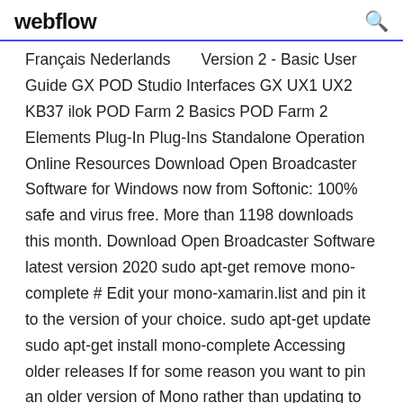webflow
Français Nederlands      Version 2 - Basic User Guide GX POD Studio Interfaces GX UX1 UX2 KB37 ilok POD Farm 2 Basics POD Farm 2 Elements Plug-In Plug-Ins Standalone Operation Online Resources Download Open Broadcaster Software for Windows now from Softonic: 100% safe and virus free. More than 1198 downloads this month. Download Open Broadcaster Software latest version 2020 sudo apt-get remove mono-complete # Edit your mono-xamarin.list and pin it to the version of your choice. sudo apt-get update sudo apt-get install mono-complete Accessing older releases If for some reason you want to pin an older version of Mono rather than updating to